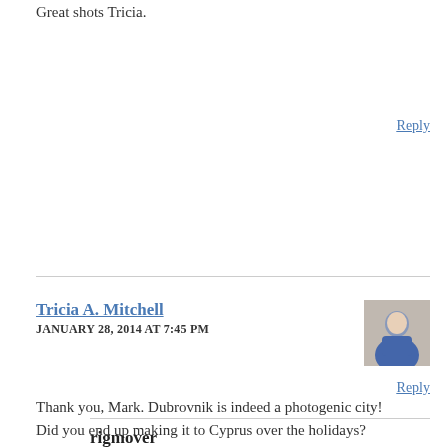Great shots Tricia.
Reply
Tricia A. Mitchell
JANUARY 28, 2014 AT 7:45 PM
[Figure (photo): Avatar photo of Tricia A. Mitchell, a woman in a blue jacket outdoors]
Thank you, Mark. Dubrovnik is indeed a photogenic city! Did you end up making it to Cyprus over the holidays?
Reply
rigmover